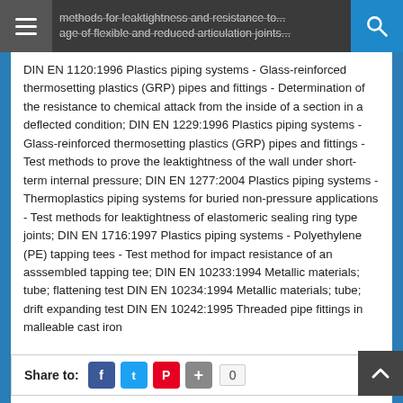methods for leaktightness and resistance to ... age of flexible and reduced articulation joints
DIN EN 1120:1996 Plastics piping systems - Glass-reinforced thermosetting plastics (GRP) pipes and fittings - Determination of the resistance to chemical attack from the inside of a section in a deflected condition; DIN EN 1229:1996 Plastics piping systems - Glass-reinforced thermosetting plastics (GRP) pipes and fittings - Test methods to prove the leaktightness of the wall under short-term internal pressure; DIN EN 1277:2004 Plastics piping systems - Thermoplastics piping systems for buried non-pressure applications - Test methods for leaktightness of elastomeric sealing ring type joints; DIN EN 1716:1997 Plastics piping systems - Polyethylene (PE) tapping tees - Test method for impact resistance of an asssembled tapping tee; DIN EN 10233:1994 Metallic materials; tube; flattening test DIN EN 10234:1994 Metallic materials; tube; drift expanding test DIN EN 10242:1995 Threaded pipe fittings in malleable cast iron